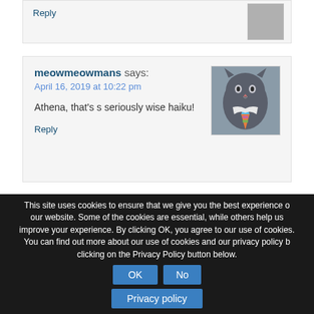Reply
meowmeowmans says:
April 16, 2019 at 10:22 pm
Athena, that's s seriously wise haiku!
Reply
[Figure (photo): Photo of a grey cat wearing a colorful tie, looking at the camera]
Post a Comment
Name ( required )
Email ( required; will
This site uses cookies to ensure that we give you the best experience on our website. Some of the cookies are essential, while others help us improve your experience. By clicking OK, you agree to our use of cookies. You can find out more about our use of cookies and our privacy policy by clicking on the Privacy Policy button below.